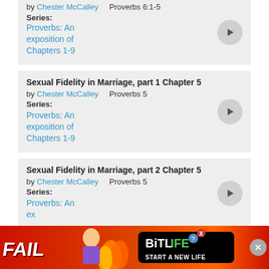by Chester McCalley   Proverbs 6:1-5
Series:
Proverbs: An exposition of Chapters 1-9
Sexual Fidelity in Marriage, part 1 Chapter 5
by Chester McCalley   Proverbs 5
Series:
Proverbs: An exposition of Chapters 1-9
Sexual Fidelity in Marriage, part 2 Chapter 5
by Chester McCalley   Proverbs 5
Series:
Proverbs: An exposition of Chapters 1-9
[Figure (screenshot): BitLife advertisement banner with FAIL text, cartoon girl, fire graphic, BitLife logo and 'START A NEW LIFE' tagline]